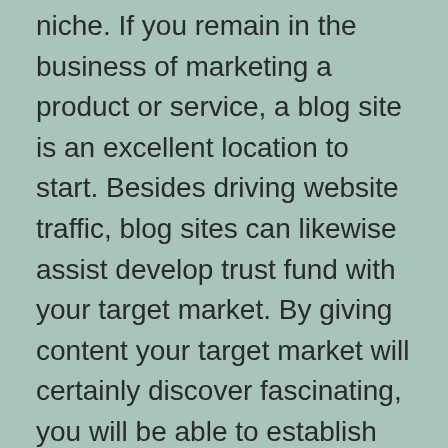niche. If you remain in the business of marketing a product or service, a blog site is an excellent location to start. Besides driving website traffic, blog sites can likewise assist develop trust fund with your target market. By giving content your target market will certainly discover fascinating, you will be able to establish on your own as a reliable source of info. It's clear that customers frequently buy from relied on sources.
Blog writing is conversational. The aim of blogging is to create a community and reflect existing communities. A blog site can be a